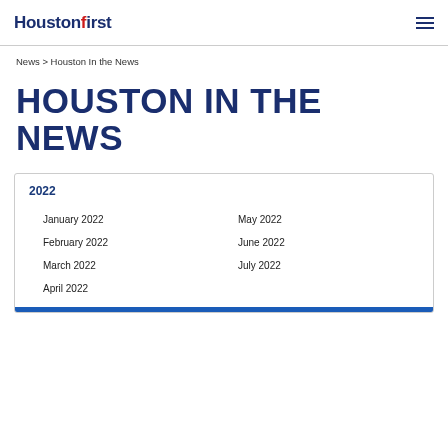Houstonfirst [hamburger menu icon]
News > Houston In the News
HOUSTON IN THE NEWS
2022
January 2022
February 2022
March 2022
April 2022
May 2022
June 2022
July 2022